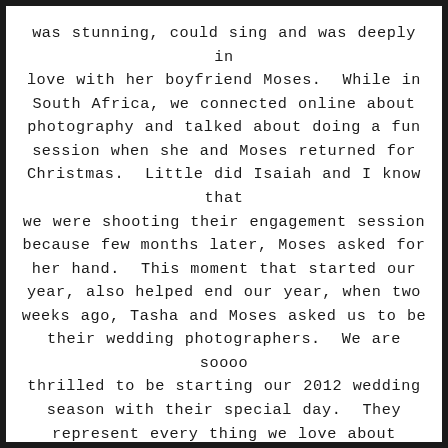was stunning, could sing and was deeply in love with her boyfriend Moses.  While in South Africa, we connected online about photography and talked about doing a fun session when she and Moses returned for Christmas.  Little did Isaiah and I know that we were shooting their engagement session because few months later, Moses asked for her hand.  This moment that started our year, also helped end our year, when two weeks ago, Tasha and Moses asked us to be their wedding photographers.  We are soooo thrilled to be starting our 2012 wedding season with their special day.  They represent every thing we love about photography (as I mentioned above) love, friendship, energy and excitement.  I am